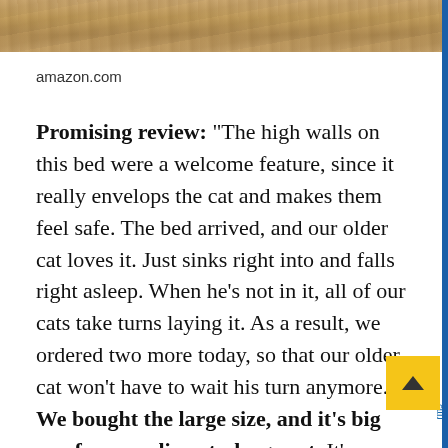[Figure (photo): Partial image of a cat or animal fur at the top of the page, cropped strip]
amazon.com
Promising review: “The high walls on this bed were a welcome feature, since it really envelops the cat and makes them feel safe. The bed arrived, and our older cat loves it. Just sinks right into and falls right asleep. When he’s not in it, all of our cats take turns laying it. As a result, we ordered two more today, so that our older cat won’t have to wait his turn anymore. We bought the large size, and it’s big eno… for a medium-to-large cat. It’s bigger than you